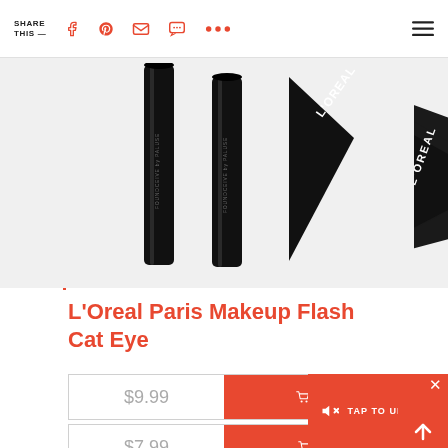SHARE THIS —
[Figure (photo): Two black L'Oreal Paris mascara/liner tubes and a triangular black eyeliner stamp product on a light gray background]
L'Oreal Paris Makeup Flash Cat Eye
$9.99  🛒 AMAZON
$7.99  🛒 TARGET
[Figure (screenshot): Tap to unmute overlay button with close X and up-arrow button]